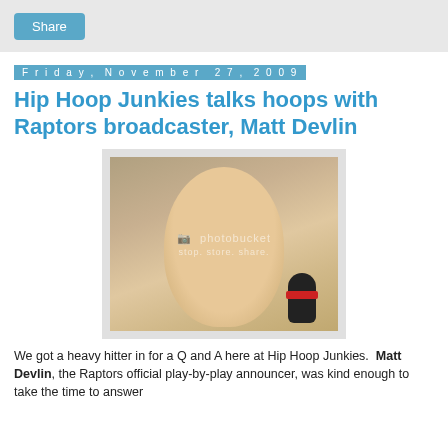Share
Friday, November 27, 2009
Hip Hoop Junkies talks hoops with Raptors broadcaster, Matt Devlin
[Figure (photo): Photo of Matt Devlin, Raptors broadcaster, smiling and holding a microphone, with a Photobucket watermark overlay]
We got a heavy hitter in for a Q and A here at Hip Hoop Junkies.  Matt Devlin, the Raptors official play-by-play announcer, was kind enough to take the time to answer